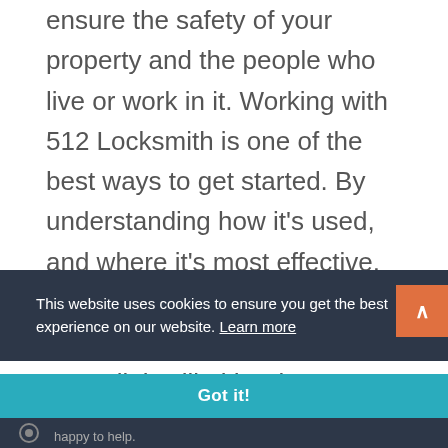ensure the safety of your property and the people who live or work in it. Working with 512 Locksmith is one of the best ways to get started. By understanding how it's used, and where it's most effective, you can be better prepared.

Overall, it will either keep you in compliance with building codes or
This website uses cookies to ensure you get the best experience on our website. Learn more
Got it!
happy to help.